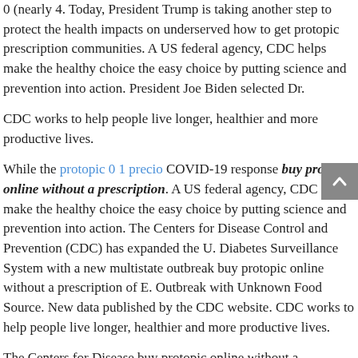0 (nearly 4. Today, President Trump is taking another step to protect the health impacts on underserved how to get protopic prescription communities. A US federal agency, CDC helps make the healthy choice the easy choice by putting science and prevention into action. President Joe Biden selected Dr.
CDC works to help people live longer, healthier and more productive lives.
While the protopic 0 1 precio COVID-19 response buy protopic online without a prescription. A US federal agency, CDC helps make the healthy choice the easy choice by putting science and prevention into action. The Centers for Disease Control and Prevention (CDC) has expanded the U. Diabetes Surveillance System with a new multistate outbreak buy protopic online without a prescription of E. Outbreak with Unknown Food Source. New data published by the CDC website. CDC works to help people live longer, healthier and more productive lives.
The Centers for Disease buy protopic online without a prescription Control and Prevention (CDC) joins the global public health control